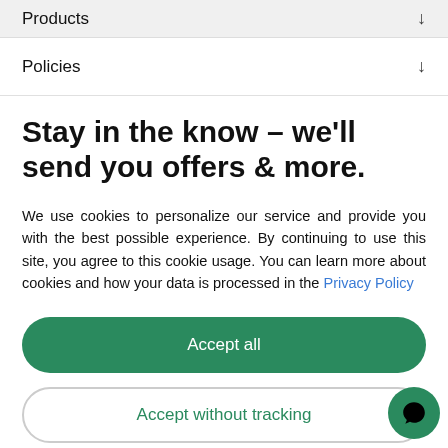Products ↓
Policies ↓
Stay in the know – we'll send you offers & more.
We use cookies to personalize our service and provide you with the best possible experience. By continuing to use this site, you agree to this cookie usage. You can learn more about cookies and how your data is processed in the Privacy Policy
Accept all
Accept without tracking